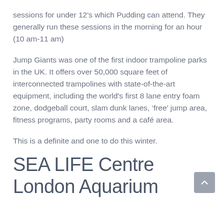sessions for under 12's which Pudding can attend. They generally run these sessions in the morning for an hour (10 am-11 am)
Jump Giants was one of the first indoor trampoline parks in the UK. It offers over 50,000 square feet of interconnected trampolines with state-of-the-art equipment, including the world's first 8 lane entry foam zone, dodgeball court, slam dunk lanes, 'free' jump area, fitness programs, party rooms and a café area.
This is a definite and one to do this winter.
SEA LIFE Centre London Aquarium